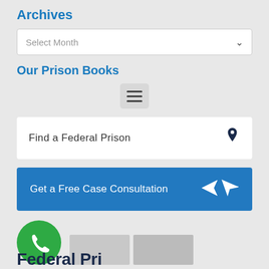Archives
Select Month
Our Prison Books
[Figure (other): Hamburger menu icon in a rounded grey box]
Find a Federal Prison
Get a Free Case Consultation
[Figure (other): Green circle with white phone/call icon]
Federal Pri...